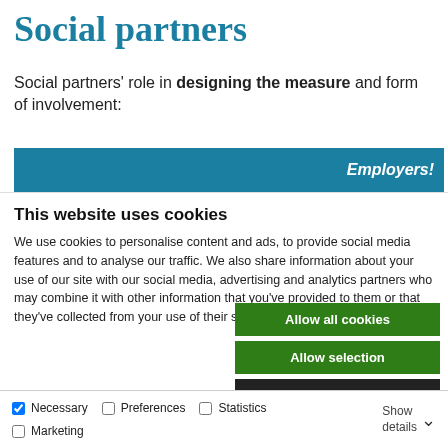Social partners
Social partners' role in designing the measure and form of involvement:
[Figure (other): Blue horizontal bar with white italic text 'Employers!' on the right side]
This website uses cookies
We use cookies to personalise content and ads, to provide social media features and to analyse our traffic. We also share information about your use of our site with our social media, advertising and analytics partners who may combine it with other information that you've provided to them or that they've collected from your use of their services.
Allow all cookies
Allow selection
Use necessary cookies only
Necessary  Preferences  Statistics  Marketing  Show details